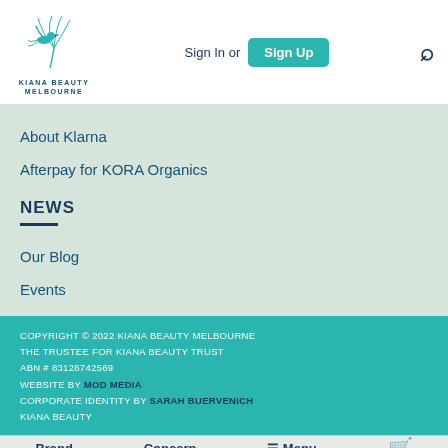Sign In or Sign Up [search icon]
[Figure (logo): Kiana Beauty Melbourne logo with bird/palm illustration and text KIANA BEAUTY MELBOURNE]
About Klarna
Afterpay for KORA Organics
NEWS
Our Blog
Events
COPYRIGHT © 2022 KIANA BEAUTY MELBOURNE THE TRUSTEE FOR KIANA BEAUTY TRUST ABN # 83128742569 WEBSITE BY MOD MEDIA CORPORATE IDENTITY BY SARAH BUERVENICH KIANA BEAUTY
Brand  Concern  ☰ Menu  🛒